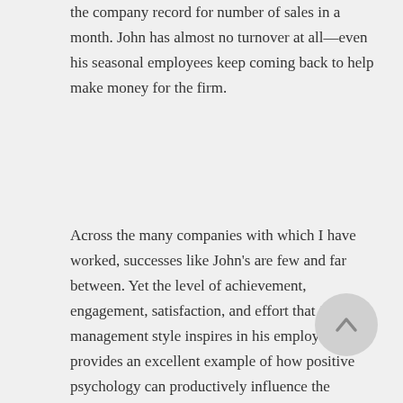the company record for number of sales in a month. John has almost no turnover at all—even his seasonal employees keep coming back to help make money for the firm.
Across the many companies with which I have worked, successes like John's are few and far between. Yet the level of achievement, engagement, satisfaction, and effort that John's management style inspires in his employees provides an excellent example of how positive psychology can productively influence the workplace. Having spent several years analyzing companies and conducting research, I decided to write an overview of research about specific areas of focus that can help firms to build a strong foundation of top notch human capital.